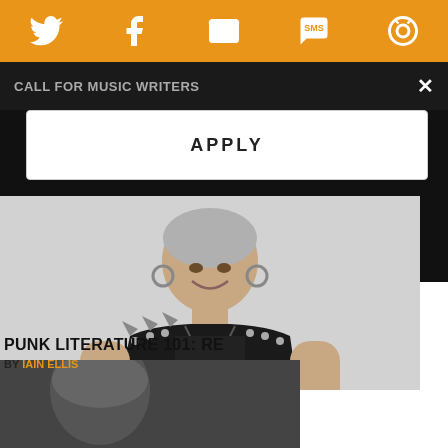[Figure (screenshot): Orange social sharing bar with Twitter, Facebook, email, SMS, and camera/user icons in white on orange background]
Call for Music Writers
APPLY
[Figure (photo): Person in leather vest with spiked shoulders and hoop earrings holding a book, smiling, on light gray background]
PUNK LITERATURE 101: RE
BY IAIN ELLIS
[Figure (photo): Partial image of a person, bottom portion of article preview]